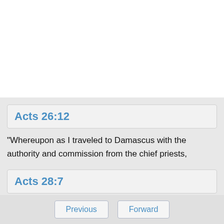Acts 26:12
"Whereupon as I traveled to Damascus with the authority and commission from the chief priests,
Acts 28:7
Now in the neighborhood of that place were lands belonging to the chief man of the island, named Publius, who received us, and courteously entertained us for three days.